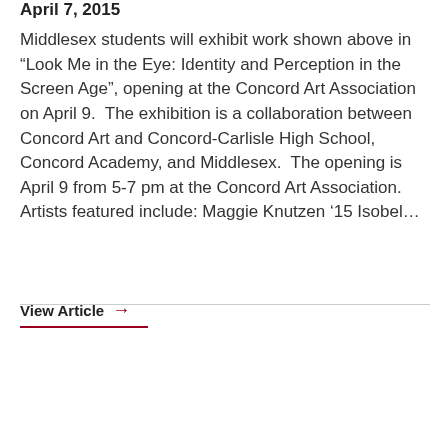April 7, 2015
Middlesex students will exhibit work shown above in “Look Me in the Eye: Identity and Perception in the Screen Age”, opening at the Concord Art Association on April 9.  The exhibition is a collaboration between Concord Art and Concord-Carlisle High School, Concord Academy, and Middlesex.  The opening is April 9 from 5-7 pm at the Concord Art Association.   Artists featured include: Maggie Knutzen ’15 Isobel…
View Article →